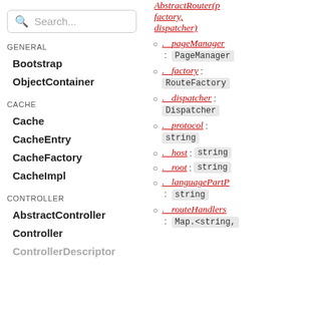Search...
GENERAL
Bootstrap
ObjectContainer
CACHE
Cache
CacheEntry
CacheFactory
CacheImpl
CONTROLLER
AbstractController
Controller
ControllerDescriptor
. AbstractRouter(p factory, dispatcher)
. _pageManager : PageManager
. _factory : RouteFactory
. _dispatcher : Dispatcher
. _protocol : string
. _host : string
. _root : string
. _languagePartP : string
. _routeHandlers : Map.<string,